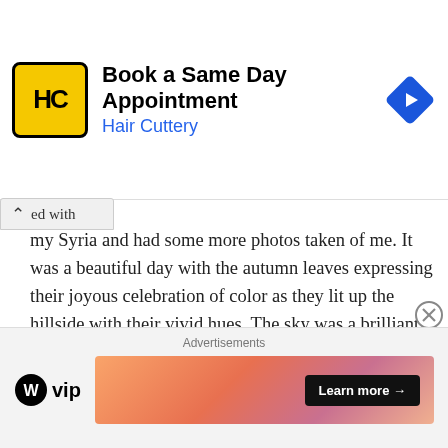[Figure (screenshot): Hair Cuttery ad banner: yellow logo with HC initials, text 'Book a Same Day Appointment / Hair Cuttery', blue diamond arrow icon on right]
ed with my Syria and had some more photos taken of me. It was a beautiful day with the autumn leaves expressing their joyous celebration of color as they lit up the hillside with their vivid hues. The sky was a brilliant deep blue which brought a sense of peace to my heart. Then, we all went for a ride, but this ride was not at all like
[Figure (screenshot): Bottom advertisements section: WordPress VIP logo on left, colorful gradient banner with 'Learn more →' button on right, labeled 'Advertisements']